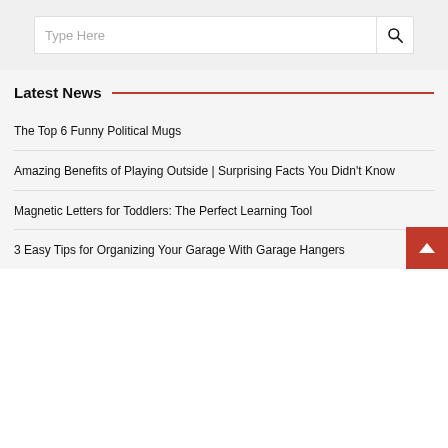Type Here
Latest News
The Top 6 Funny Political Mugs
Amazing Benefits of Playing Outside | Surprising Facts You Didn't Know
Magnetic Letters for Toddlers: The Perfect Learning Tool
3 Easy Tips for Organizing Your Garage With Garage Hangers